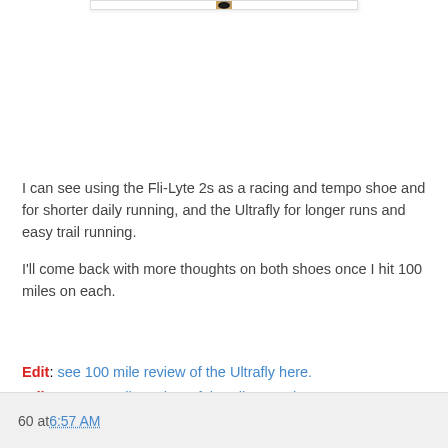[Figure (photo): Close-up photo of the worn sole of a running shoe showing black rubber tread with blue and tan/sand colored background]
I can see using the Fli-Lyte 2s as a racing and tempo shoe and for shorter daily running, and the Ultrafly for longer runs and easy trail running.
I'll come back with more thoughts on both shoes once I hit 100 miles on each.
Edit: see 100 mile review of the Ultrafly here.
Edit: see 100 mile review of the Fli-Lyte 2 here.
60 at 6:57 AM